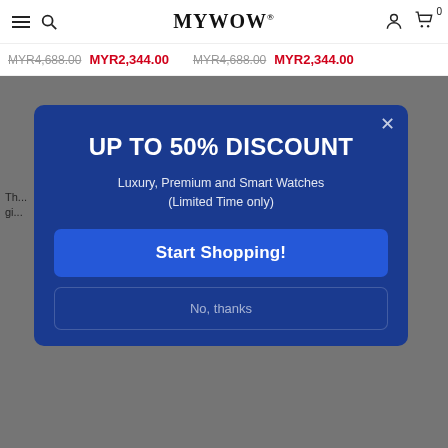MYWOW (logo) with hamburger, search, account, and cart icons
MYR4,688.00 MYR2,344.00   MYR4,688.00 MYR2,344.00
[Figure (screenshot): Popup modal on a dark overlay showing discount offer with title UP TO 50% DISCOUNT, subtitle Luxury, Premium and Smart Watches (Limited Time only), a Start Shopping button, and a No, thanks link. Background shows MYWOW e-commerce site.]
UP TO 50% DISCOUNT
Luxury, Premium and Smart Watches (Limited Time only)
Start Shopping!
No, thanks